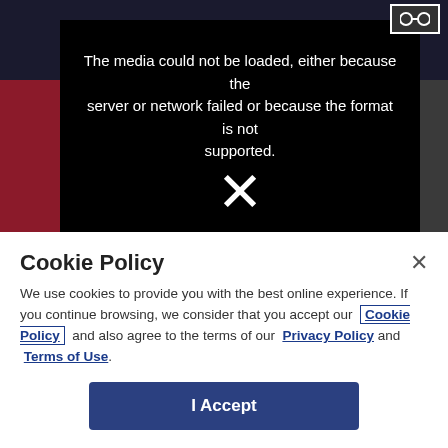[Figure (screenshot): Video player showing media error with black background, white error text, and X icon]
The media could not be loaded, either because the server or network failed or because the format is not supported.
Cookie Policy
We use cookies to provide you with the best online experience. If you continue browsing, we consider that you accept our Cookie Policy and also agree to the terms of our Privacy Policy and Terms of Use.
I Accept